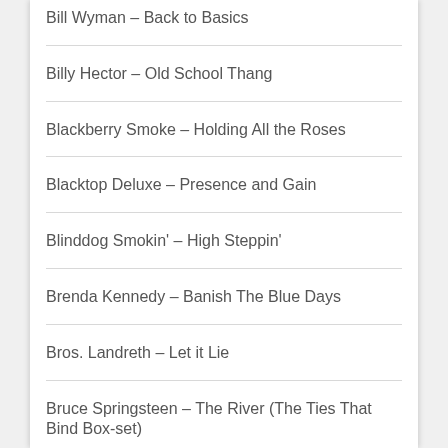Bill Wyman – Back to Basics
Billy Hector – Old School Thang
Blackberry Smoke – Holding All the Roses
Blacktop Deluxe – Presence and Gain
Blinddog Smokin' – High Steppin'
Brenda Kennedy – Banish The Blue Days
Bros. Landreth – Let it Lie
Bruce Springsteen – The River (The Ties That Bind Box-set)
Buck Owens – Buck 'Em (Vol II)
Buford Pope – The Poem and the Rose